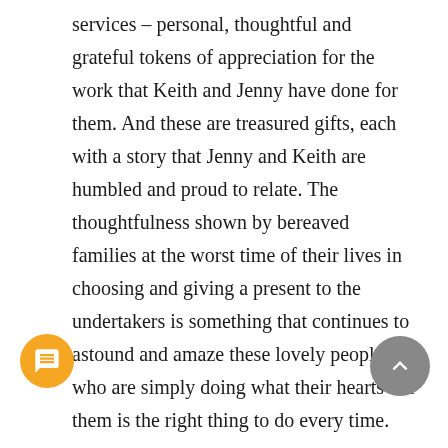services – personal, thoughtful and grateful tokens of appreciation for the work that Keith and Jenny have done for them. And these are treasured gifts, each with a story that Jenny and Keith are humbled and proud to relate. The thoughtfulness shown by bereaved families at the worst time of their lives in choosing and giving a present to the undertakers is something that continues to astound and amaze these lovely people, who are simply doing what their hearts tell them is the right thing to do every time.
Keith and Jenny's commitment to client care and bereavement forms the cornerstone of the company's business. In Jenny's words, "unlimited access to the person who has died is a fundamental right". And they